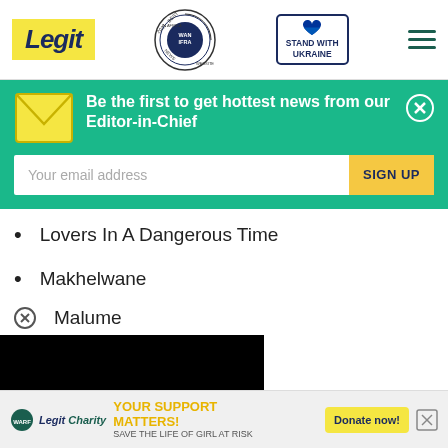Legit | WAN-IFRA 2021 Best News Website in Africa | Stand with Ukraine
Be the first to get hottest news from our Editor-in-Chief
Your email address | SIGN UP
Lovers In A Dangerous Time
Makhelwane
Malume
[Figure (screenshot): Black video player area with white loading spinner and red minimize button with down chevron]
[Figure (infographic): Ad banner: Your Support Matters! Save the life of girl at risk - Legit Charity / WARF logos, Donate now button]